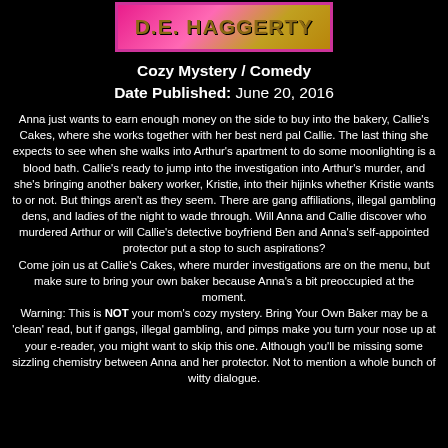[Figure (logo): Pink and gold book cover banner logo reading 'D.E. Haggerty' in bold stylized text on a pink background]
Cozy Mystery / Comedy
Date Published: June 20, 2016
Anna just wants to earn enough money on the side to buy into the bakery, Callie's Cakes, where she works together with her best nerd pal Callie. The last thing she expects to see when she walks into Arthur's apartment to do some moonlighting is a blood bath. Callie's ready to jump into the investigation into Arthur's murder, and she's bringing another bakery worker, Kristie, into their hijinks whether Kristie wants to or not. But things aren't as they seem. There are gang affiliations, illegal gambling dens, and ladies of the night to wade through. Will Anna and Callie discover who murdered Arthur or will Callie's detective boyfriend Ben and Anna's self-appointed protector put a stop to such aspirations?
Come join us at Callie's Cakes, where murder investigations are on the menu, but make sure to bring your own baker because Anna's a bit preoccupied at the moment.
Warning: This is NOT your mom's cozy mystery. Bring Your Own Baker may be a 'clean' read, but if gangs, illegal gambling, and pimps make you turn your nose up at your e-reader, you might want to skip this one. Although you'll be missing some sizzling chemistry between Anna and her protector. Not to mention a whole bunch of witty dialogue.